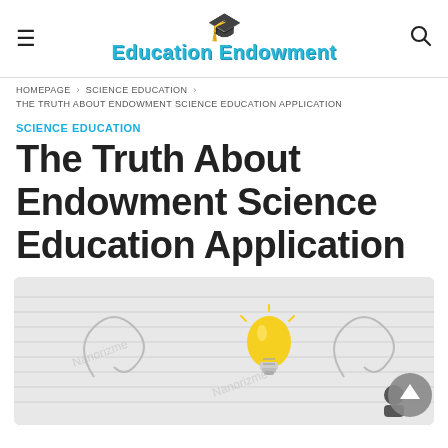Education Endowment
HOMEPAGE > SCIENCE EDUCATION > THE TRUTH ABOUT ENDOWMENT SCIENCE EDUCATION APPLICATION
SCIENCE EDUCATION
The Truth About Endowment Science Education Application
[Figure (illustration): Feature image showing a light bulb and educational icons on a notebook paper background with swirl patterns.]